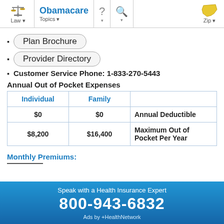Obamacare — Law | Topics | Zip
Plan Brochure
Provider Directory
Customer Service Phone: 1-833-270-5443
Annual Out of Pocket Expenses
| Individual | Family |  |
| --- | --- | --- |
| $0 | $0 | Annual Deductible |
| $8,200 | $16,400 | Maximum Out of Pocket Per Year |
Monthly Premiums:
Speak with a Health Insurance Expert
800-943-6832
Ads by +HealthNetwork